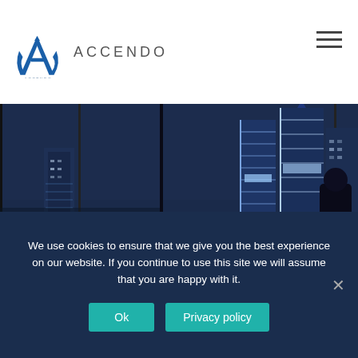[Figure (logo): Accendo company logo: stylized blue A shape with text ACCENDO beside it]
[Figure (photo): Night cityscape with illuminated skyscrapers viewed through windows, silhouette of person in foreground]
We use cookies to ensure that we give you the best experience on our website. If you continue to use this site we will assume that you are happy with it.
Ok
Privacy policy